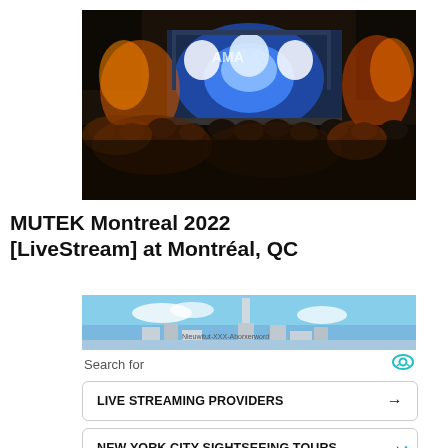[Figure (photo): Outdoor concert/festival night scene with blue-lit stage and large crowd in silhouette]
MUTEK Montreal 2022 [LiveStream] at Montréal, QC
[Figure (screenshot): Advertisement block showing a cityscape panorama photo with search links for Live Streaming Providers and New York City Sightseeing Tours]
Search for
LIVE STREAMING PROVIDERS →
NEW YORK CITY SIGHTSEEING TOURS →